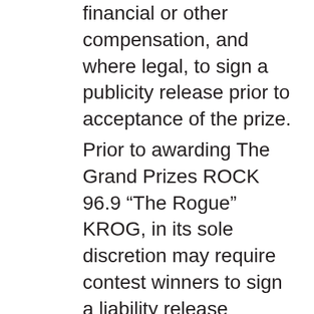financial or other compensation, and where legal, to sign a publicity release prior to acceptance of the prize.
Prior to awarding The Grand Prizes ROCK 96.9 “The Rogue” KROG, in its sole discretion may require contest winners to sign a liability release agreeing to hold KROG, AKA 96.9 “The Rogue”and Opus Broadcasting, its corporate licensee, its parent, subsidiary and affiliated corporations and the officers, shareholders, directors, employees, agents and representatives of each of them harmless against any and all claims or liability arising directly or indirectly from